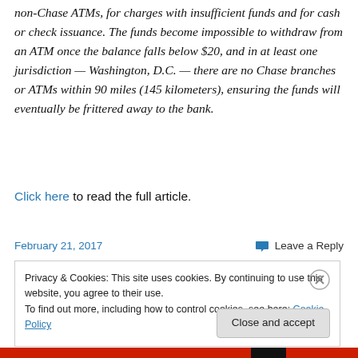non-Chase ATMs, for charges with insufficient funds and for cash or check issuance. The funds become impossible to withdraw from an ATM once the balance falls below $20, and in at least one jurisdiction — Washington, D.C. — there are no Chase branches or ATMs within 90 miles (145 kilometers), ensuring the funds will eventually be frittered away to the bank.
Click here to read the full article.
February 21, 2017     💬 Leave a Reply
Privacy & Cookies: This site uses cookies. By continuing to use this website, you agree to their use.
To find out more, including how to control cookies, see here: Cookie Policy